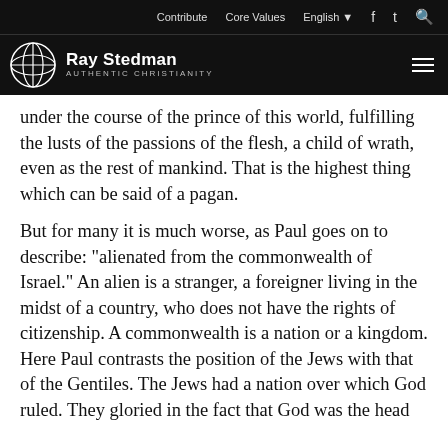Contribute   Core Values   English   [social icons]
Ray Stedman — Authentic Christianity
under the course of the prince of this world, fulfilling the lusts of the passions of the flesh, a child of wrath, even as the rest of mankind. That is the highest thing which can be said of a pagan.
But for many it is much worse, as Paul goes on to describe: "alienated from the commonwealth of Israel." An alien is a stranger, a foreigner living in the midst of a country, who does not have the rights of citizenship. A commonwealth is a nation or a kingdom. Here Paul contrasts the position of the Jews with that of the Gentiles. The Jews had a nation over which God ruled. They gloried in the fact that God was the head...